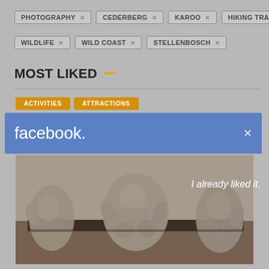PHOTOGRAPHY × CEDERBERG × KAROO × HIKING TRAILS ×
WILDLIFE × WILD COAST × STELLENBOSCH ×
MOST LIKED
ACTIVITIES  ATTRACTIONS
facebook.
I already liked it.
[Figure (photo): Museum sculptures of seated human figures, viewed from below, displayed on a wooden platform, desaturated gray tone.]